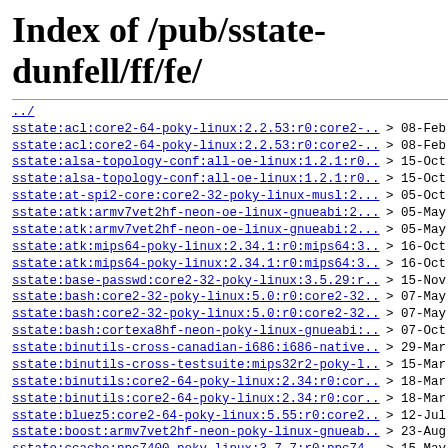Index of /pub/sstate-dunfell/ff/fe/
../
sstate:acl:core2-64-poky-linux:2.2.53:r0:core2-..> 08-Feb
sstate:acl:core2-64-poky-linux:2.2.53:r0:core2-..> 08-Feb
sstate:alsa-topology-conf:all-oe-linux:1.2.1:r0..> 15-Oct
sstate:alsa-topology-conf:all-oe-linux:1.2.1:r0..> 15-Oct
sstate:at-spi2-core:core2-32-poky-linux-musl:2...> 05-Oct
sstate:atk:armv7vet2hf-neon-oe-linux-gnueabi:2...> 05-May
sstate:atk:armv7vet2hf-neon-oe-linux-gnueabi:2...> 05-May
sstate:atk:mips64-poky-linux:2.34.1:r0:mips64:3..> 16-Oct
sstate:atk:mips64-poky-linux:2.34.1:r0:mips64:3..> 16-Oct
sstate:base-passwd:core2-32-poky-linux:3.5.29:r..> 15-Nov
sstate:bash:core2-32-poky-linux:5.0:r0:core2-32..> 07-May
sstate:bash:core2-32-poky-linux:5.0:r0:core2-32..> 07-May
sstate:bash:cortexa8hf-neon-poky-linux-gnueabi:..> 07-Oct
sstate:binutils-cross-canadian-i686:i686-native..> 29-Mar
sstate:binutils-cross-testsuite:mips32r2-poky-l..> 15-Mar
sstate:binutils:core2-64-poky-linux:2.34:r0:cor..> 18-Mar
sstate:binutils:core2-64-poky-linux:2.34:r0:cor..> 18-Mar
sstate:bluez5:core2-64-poky-linux:5.55:r0:core2..> 12-Jul
sstate:boost:armv7vet2hf-neon-poky-linux-gnueab..> 23-Aug
sstate:ccache:ppc7400-poky-linux:3.7.7:r0:ppc74..> 15-May
sstate:clutter-gst-3.0:core2-64-poky-linux:3.0....> 31-Jul